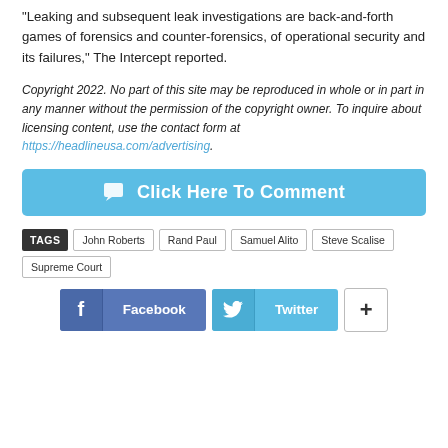“Leaking and subsequent leak investigations are back-and-forth games of forensics and counter-forensics, of operational security and its failures,” The Intercept reported.
Copyright 2022. No part of this site may be reproduced in whole or in part in any manner without the permission of the copyright owner. To inquire about licensing content, use the contact form at https://headlineusa.com/advertising.
[Figure (other): Click Here To Comment button in light blue]
TAGS   John Roberts   Rand Paul   Samuel Alito   Steve Scalise   Supreme Court
[Figure (other): Social share buttons: Facebook, Twitter, and a plus button]